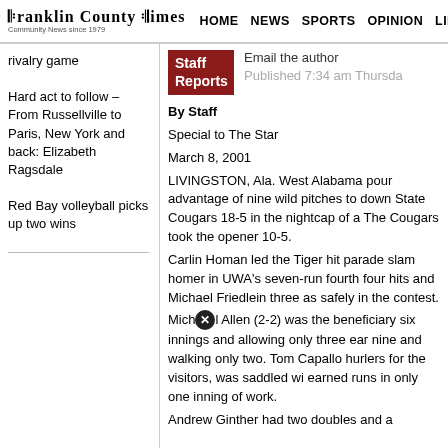Franklin County Times | HOME | NEWS | SPORTS | OPINION | LIFESTYLES
rivalry game
Hard act to follow – From Russellville to Paris, New York and back: Elizabeth Ragsdale
Red Bay volleyball picks up two wins
[Figure (other): Staff Reports badge — dark red square with white bold text reading 'Staff Reports']
Email the author
Published 7:34 am Thursday
By Staff
Special to The Star
March 8, 2001
LIVINGSTON, Ala. West Alabama poured advantage of nine wild pitches to down State Cougars 18-5 in the nightcap of a The Cougars took the opener 10-5.
Carlin Homan led the Tiger hit parade slam homer in UWA's seven-run fourth four hits and Michael Friedlein three as safely in the contest.
Mich⊗l Allen (2-2) was the beneficiary six innings and allowing only three ear nine and walking only two. Tom Capallo hurlers for the visitors, was saddled wi earned runs in only one inning of work. Andrew Ginther had two doubles and a